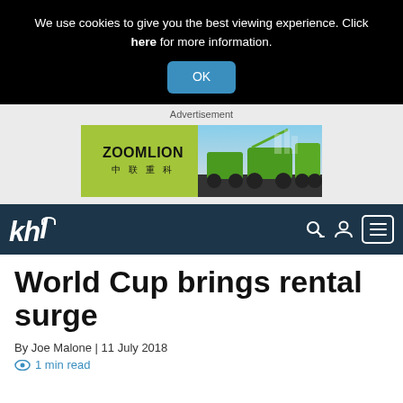We use cookies to give you the best viewing experience. Click here for more information.
OK
Advertisement
[Figure (photo): Zoomlion advertisement banner showing logo on green background and construction/agricultural equipment on right]
[Figure (logo): KHL media logo with navigation bar icons (search, user, menu)]
World Cup brings rental surge
By Joe Malone  |  11 July 2018
1 min read